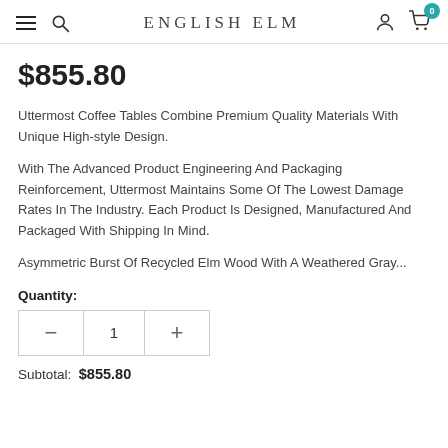ENGLISH ELM
$855.80
Uttermost Coffee Tables Combine Premium Quality Materials With Unique High-style Design.
With The Advanced Product Engineering And Packaging Reinforcement, Uttermost Maintains Some Of The Lowest Damage Rates In The Industry. Each Product Is Designed, Manufactured And Packaged With Shipping In Mind.
Asymmetric Burst Of Recycled Elm Wood With A Weathered Gray...
Quantity:
Subtotal: $855.80